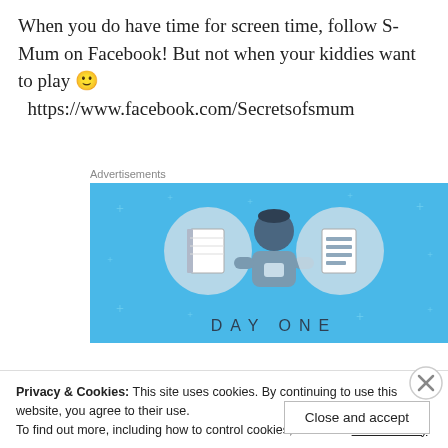When you do have time for screen time, follow S-Mum on Facebook!  But not when your kiddies want to play 🙂 https://www.facebook.com/Secretsofsmum
Advertisements
[Figure (illustration): Advertisement banner with light blue background showing a stylized person looking at a phone, flanked by two circular icons depicting a notebook and a lined document, with text 'DAY ONE' at the bottom]
Privacy & Cookies: This site uses cookies. By continuing to use this website, you agree to their use.
To find out more, including how to control cookies, see here: Cookie Policy
Close and accept